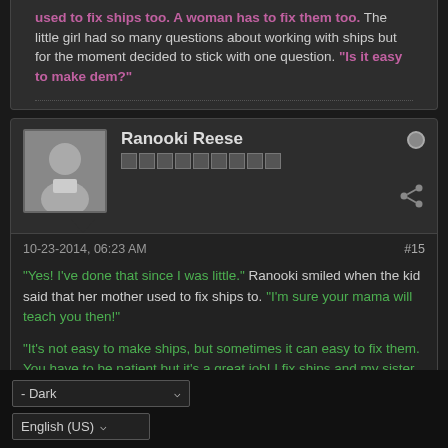used to fix ships too. A woman has to fix them too. The little girl had so many questions about working with ships but for the moment decided to stick with one question. "Is it easy to make dem?"
Ranooki Reese
10-23-2014, 06:23 AM  #15
"Yes! I've done that since I was little." Ranooki smiled when the kid said that her mother used to fix ships to. "I'm sure your mama will teach you then!"
"It's not easy to make ships, but sometimes it can easy to fix them. You have to be patient but it's a great job! I fix ships and my sister flies them. It's a family thing."
- Dark
English (US)